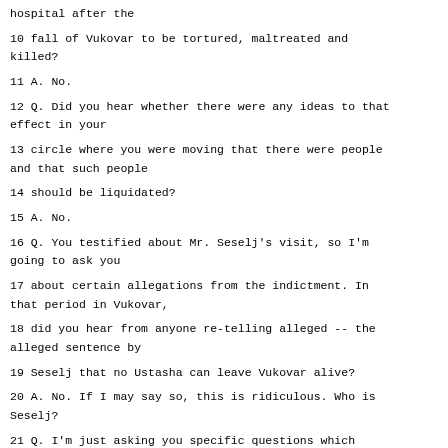hospital after the
10 fall of Vukovar to be tortured, maltreated and killed?
11 A. No.
12 Q. Did you hear whether there were any ideas to that effect in your
13 circle where you were moving that there were people and that such people
14 should be liquidated?
15 A. No.
16 Q. You testified about Mr. Seselj's visit, so I'm going to ask you
17 about certain allegations from the indictment. In that period in Vukovar,
18 did you hear from anyone re-telling alleged -- the alleged sentence by
19 Seselj that no Ustasha can leave Vukovar alive?
20 A. No. If I may say so, this is ridiculous. Who is Seselj?
21 Q. I'm just asking you specific questions which